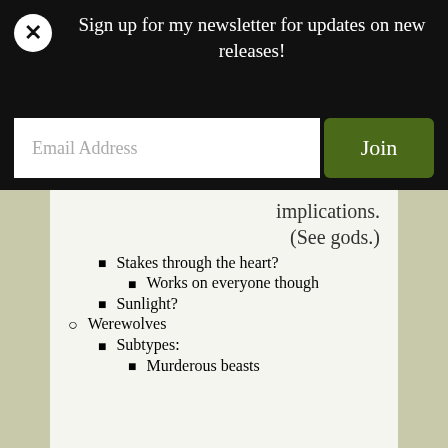Sign up for my newsletter for updates on new releases!
Email Address
Join
implications. (See gods.)
Stakes through the heart?
Works on everyone though
Sunlight?
Werewolves
Subtypes:
Murderous beasts